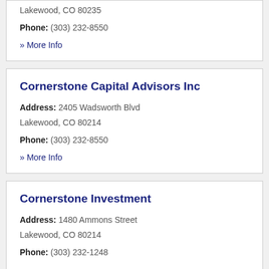Lakewood, CO 80235
Phone: (303) 232-8550
» More Info
Cornerstone Capital Advisors Inc
Address: 2405 Wadsworth Blvd Lakewood, CO 80214
Phone: (303) 232-8550
» More Info
Cornerstone Investment
Address: 1480 Ammons Street Lakewood, CO 80214
Phone: (303) 232-1248